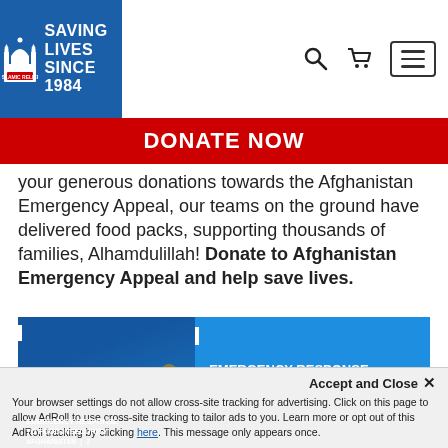Islamic Relief — Saving Lives Since 1984 — navigation header with search, cart, and menu icons
DONATE NOW
your generous donations towards the Afghanistan Emergency Appeal, our teams on the ground have delivered food packs, supporting thousands of families, Alhamdulillah! Donate to Afghanistan Emergency Appeal and help save lives.
[Figure (photo): Photo of Islamic Relief staff with blue Emergency Response to Food Insecurity Crisis Afghanistan 2021 banners]
Accept and Close ✕
Your browser settings do not allow cross-site tracking for advertising. Click on this page to allow AdRoll to use cross-site tracking to tailor ads to you. Learn more or opt out of this AdRoll tracking by clicking here. This message only appears once.